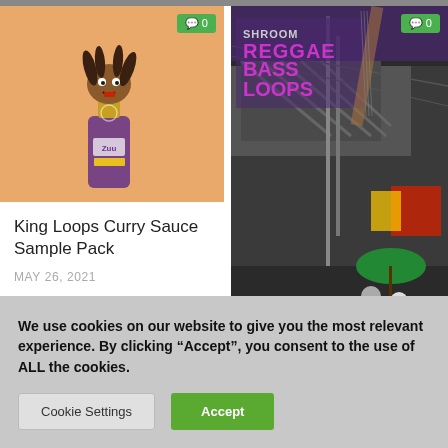[Figure (illustration): Thumbnail image for King Loops Curry Sauce Sample Pack showing a cartoon character with a beer bottle on orange background, with green comment badge showing 0]
King Loops Curry Sauce Sample Pack
MAY 26, 2021
[Figure (photo): Thumbnail image for Shroom Reggae Bass Loops WAV showing a reggae street scene photo with text overlay reading SHROOM REGGAE BASS LOOPS, with green comment badge showing 0]
Shroom Reggae Bass Loops WAV
We use cookies on our website to give you the most relevant experience. By clicking “Accept”, you consent to the use of ALL the cookies.